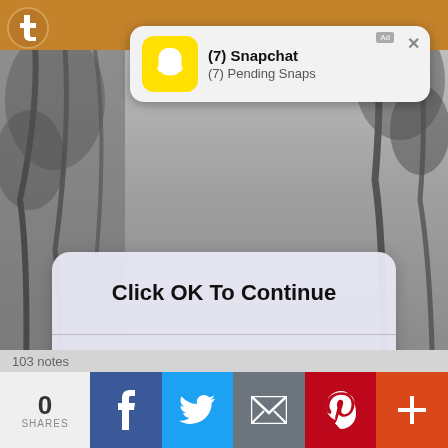[Figure (screenshot): Grayscale photo background showing trees (doum palm) in an outdoor landscape scene, serving as the background of a Tumblr post page]
[Figure (screenshot): Snapchat push notification card showing yellow ghost icon, title '(7) Snapchat', subtitle '(7) Pending Snaps', with Ad label and X close button]
[Figure (screenshot): iOS-style dialog box overlay with rounded rectangle, reading 'Click OK To Continue' in bold and 'OK' in blue link style]
Pippa on doum palm, 1968. From "The spotted sphinx" by Joy Adamson. https://www.instagram.com/p/Ch2poWqtf6S/?igshid=NGJjMDIxMWI=
[Figure (screenshot): Bottom social share bar showing 0 SHARES, Facebook, Twitter, Email, Pinterest, and More (+) buttons]